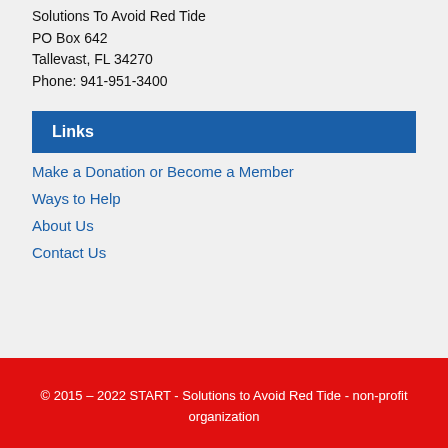Solutions To Avoid Red Tide
PO Box 642
Tallevast, FL 34270
Phone: 941-951-3400
Links
Make a Donation or Become a Member
Ways to Help
About Us
Contact Us
© 2015 – 2022 START - Solutions to Avoid Red Tide - non-profit organization